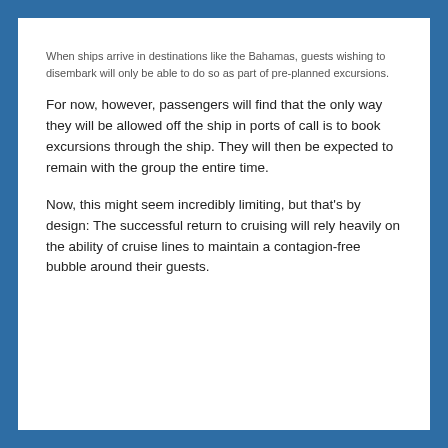When ships arrive in destinations like the Bahamas, guests wishing to disembark will only be able to do so as part of pre-planned excursions.
For now, however, passengers will find that the only way they will be allowed off the ship in ports of call is to book excursions through the ship. They will then be expected to remain with the group the entire time.
Now, this might seem incredibly limiting, but that's by design: The successful return to cruising will rely heavily on the ability of cruise lines to maintain a contagion-free bubble around their guests.